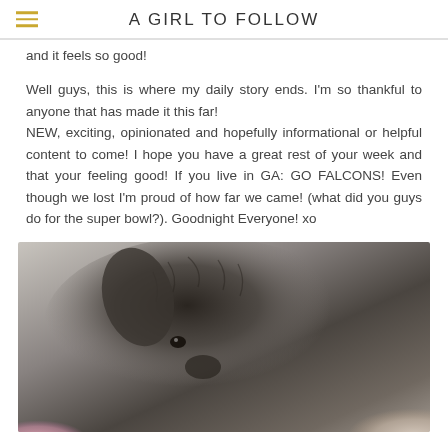A GIRL TO FOLLOW
and it feels so good!
Well guys, this is where my daily story ends. I'm so thankful to anyone that has made it this far!
NEW, exciting, opinionated and hopefully informational or helpful content to come! I hope you have a great rest of your week and that your feeling good! If you live in GA: GO FALCONS! Even though we lost I'm proud of how far we came! (what did you guys do for the super bowl?). Goodnight Everyone! xo
[Figure (photo): Close-up photo of a small dark grey/black fluffy dog, appearing to be a small terrier or similar breed, with visible pink item in lower left corner and patterned fabric in lower right corner.]